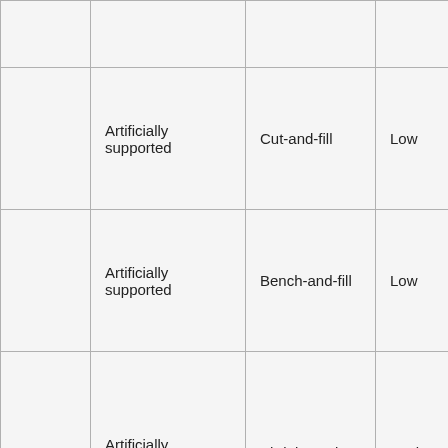|  |  |  |  |
| Artificially supported | Cut-and-fill | Low |  |
| Artificially supported | Bench-and-fill | Low |  |
| Artificially supported | Shrink stoping | Moderate |  |
|  |  |  |  |